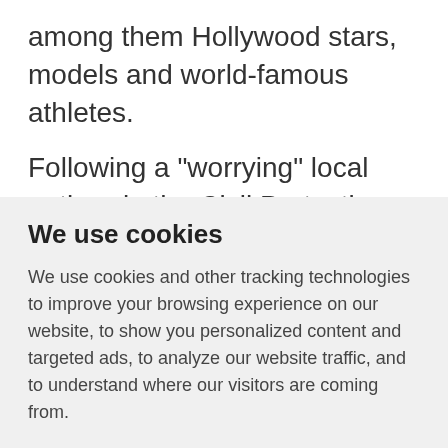among them Hollywood stars, models and world-famous athletes.
Following a "worrying" local outbreak, the Civil Protection Ministry said it was banning music on the island around the clock, including in shops, cafes and beach bars. It also said it would restrict
We use cookies
We use cookies and other tracking technologies to improve your browsing experience on our website, to show you personalized content and targeted ads, to analyze our website traffic, and to understand where our visitors are coming from.